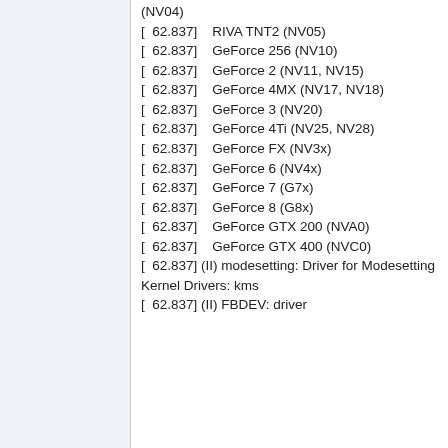(NV04)
[  62.837]    RIVA TNT2 (NV05)
[  62.837]    GeForce 256 (NV10)
[  62.837]    GeForce 2 (NV11, NV15)
[  62.837]    GeForce 4MX (NV17, NV18)
[  62.837]    GeForce 3 (NV20)
[  62.837]    GeForce 4Ti (NV25, NV28)
[  62.837]    GeForce FX (NV3x)
[  62.837]    GeForce 6 (NV4x)
[  62.837]    GeForce 7 (G7x)
[  62.837]    GeForce 8 (G8x)
[  62.837]    GeForce GTX 200 (NVA0)
[  62.837]    GeForce GTX 400 (NVC0)
[  62.837] (II) modesetting: Driver for Modesetting Kernel Drivers: kms
[  62.837] (II) FBDEV: driver